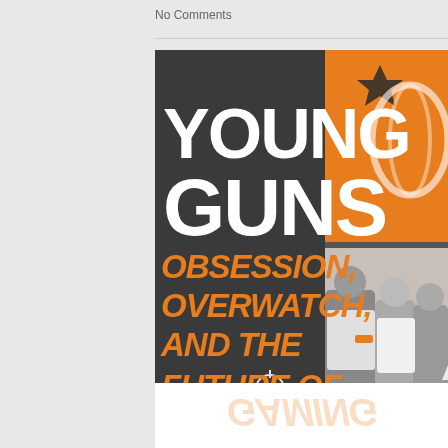No Comments
[Figure (photo): Book cover for 'Young Guns: Obsession, Overwatch, and the Future of Gaming' with dark grey left half showing bold white and orange italic text, and right half showing a photo of esports players in orange and white team jerseys against an orange branded backdrop]